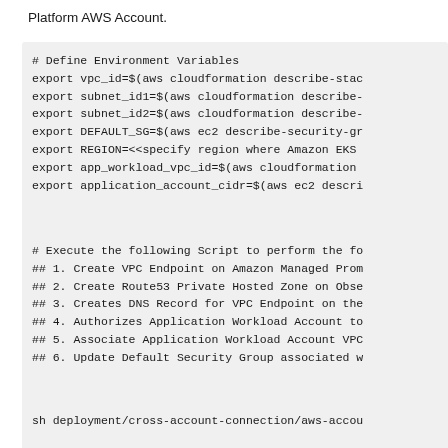Platform AWS Account.
[Figure (screenshot): Code block showing shell commands to define environment variables using aws cloudformation and aws ec2 CLI commands.]
[Figure (screenshot): Code block with comments describing script actions: Create VPC Endpoint on Amazon Managed Prometheus, Create Route53 Private Hosted Zone on Observability, Creates DNS Record for VPC Endpoint, Authorizes Application Workload Account, Associate Application Workload Account VPC, Update Default Security Group.]
[Figure (screenshot): Code block showing shell command: sh deployment/cross-account-connection/aws-accou]